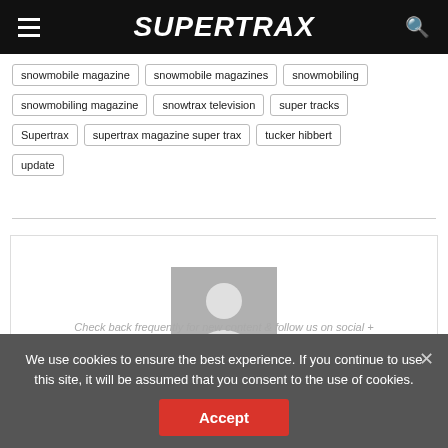SUPERTRAX
snowmobile magazine
snowmobile magazines
snowmobiling
snowmobiling magazine
snowtrax television
super tracks
Supertrax
supertrax magazine super trax
tucker hibbert
update
[Figure (photo): Default user avatar placeholder image showing a silhouette of a person on a gray background]
We use cookies to ensure the best experience. If you continue to use this site, it will be assumed that you consent to the use of cookies.
Check back frequently for new content & follow us on social +